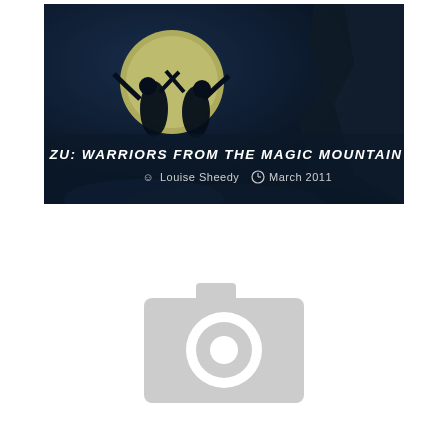[Figure (screenshot): Movie banner image for 'Zu: Warriors from the Magic Mountain' showing dark fantasy scene with two figures silhouetted against a large yellow moon, rocky cliff on right, with title text 'ZU: WARRIORS FROM THE MAGIC MOUNTAIN' and author 'Louise Sheedy' and date 'March 2011' overlaid in white text.]
[Figure (illustration): Grey camera placeholder icon, representing a missing or unloaded image thumbnail.]